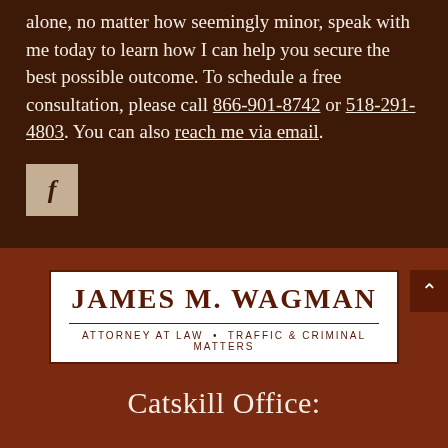alone, no matter how seemingly minor, speak with me today to learn how I can help you secure the best possible outcome. To schedule a free consultation, please call 866-901-8742 or 518-291-4803. You can also reach me via email.
[Figure (logo): Facebook social media icon button — tan/beige square with lowercase italic 'f' in dark brown]
[Figure (logo): James M. Wagman Attorney at Law logo in white box with dark red border. Large serif text 'JAMES M. WAGMAN' above a horizontal rule, then smaller text 'ATTORNEY AT LAW • TRAFFIC & CRIMINAL MATTERS']
Catskill Office: